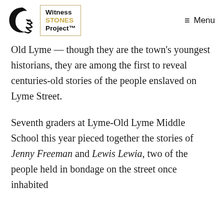Witness STONES Project™ — Menu
Old Lyme — though they are the town's youngest historians, they are among the first to reveal centuries-old stories of the people enslaved on Lyme Street.
Seventh graders at Lyme-Old Lyme Middle School this year pieced together the stories of Jenny Freeman and Lewis Lewia, two of the people held in bondage on the street once inhabited